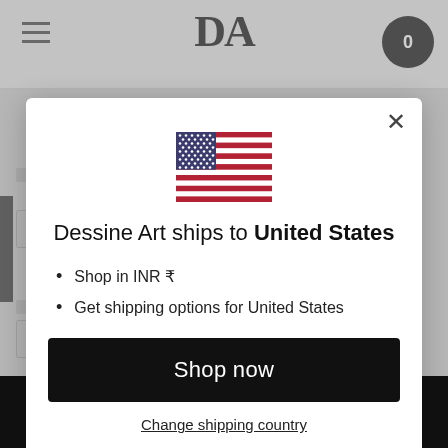[Figure (screenshot): Background of an e-commerce website showing navigation bar with hamburger menu, DA logo, and cart icon with 0 items. Bottom shows ADD TO CART button.]
[Figure (illustration): US flag SVG illustration centered in the modal dialog.]
Dessine Art ships to United States
Shop in INR ₹
Get shipping options for United States
Shop now
Change shipping country